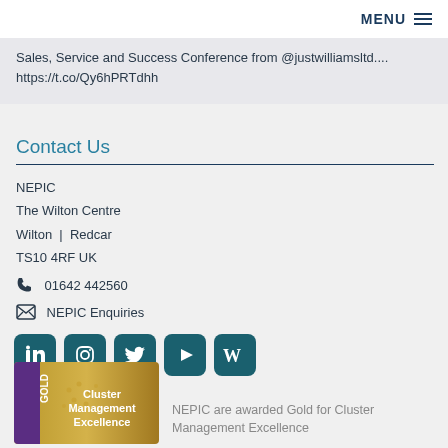MENU
Sales, Service and Success Conference from @justwilliamsltd.... https://t.co/Qy6hPRTdhh
Contact Us
NEPIC
The Wilton Centre
Wilton | Redcar
TS10 4RF UK
01642 442560
NEPIC Enquiries
[Figure (other): Social media icons: LinkedIn, Instagram, Twitter, YouTube/Play, Wikipedia]
[Figure (other): Gold Cluster Management Excellence award badge with purple GOLD label on left]
NEPIC are awarded Gold for Cluster Management Excellence